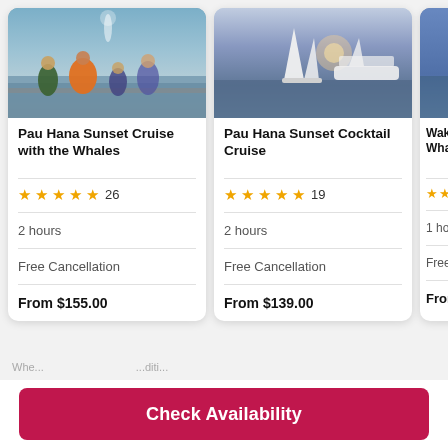[Figure (photo): People on a boat deck watching whales, person in orange jacket visible]
Pau Hana Sunset Cruise with the Whales
★★★★★ 26
2 hours
Free Cancellation
From $155.00
[Figure (photo): Sailboat and catamaran on open ocean at sunset]
Pau Hana Sunset Cocktail Cruise
★★★★★ 19
2 hours
Free Cancellation
From $139.00
[Figure (photo): Partial view of third card - blue ocean background]
Waka... Wha...
★★ (partial)
1 hou...
Free...
From...
Check Availability